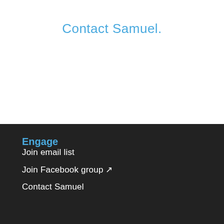Contact Samuel.
Engage
Join email list
Join Facebook group ↗
Contact Samuel